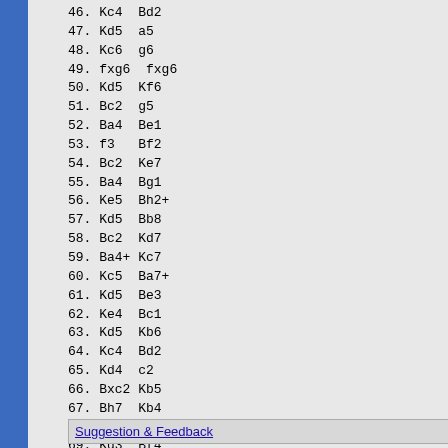46. Kc4  Bd2
47. Kd5  a5
48. Kc6  g6
49. fxg6  fxg6
50. Kd5  Kf6
51. Bc2  g5
52. Ba4  Be1
53. f3   Bf2
54. Bc2  Ke7
55. Ba4  Bg1
56. Ke5  Bh2+
57. Kd5  Bb8
58. Bc2  Kd7
59. Ba4+ Kc7
60. Kc5  Ba7+
61. Kd5  Be3
62. Ke4  Bc1
63. Kd5  Kb6
64. Kc4  Bd2
65. Kd4  c2
66. Bxc2 Kb5
67. Bh7  Kb4
68. Bg8  a4
69. Kd3  Bf4
70. Bf7  Ka3
71. Kc2
(Draw)
Suggestion & Feedback